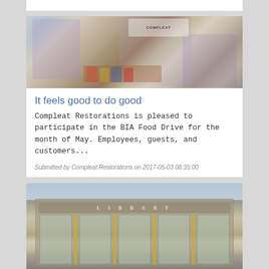[Figure (photo): Three people standing in the Compleat Restorations office with canned food items on a desk. A Compleat Restorations sign/logo is visible in the background, along with framed awards. One person is holding a small dog.]
It feels good to do good
Compleat Restorations is pleased to participate in the BIA Food Drive for the month of May. Employees, guests, and customers...
Submitted by Compleat Restorations on 2017-05-03 08:35:00
[Figure (photo): Exterior of a library building with large windows and yellow vertical pillars. The word LIBRARY is inscribed on the facade. People visible at the entrance.]